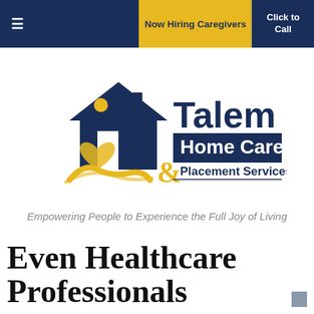≡  Now Hiring Caregivers  Click to Call
[Figure (logo): Talem Home Care & Placement Services logo with house, caregiver figures, and heart imagery in blue and gold colors]
Empowering People to Experience the Full Joy of Living
Even Healthcare Professionals Struggle Navigating the